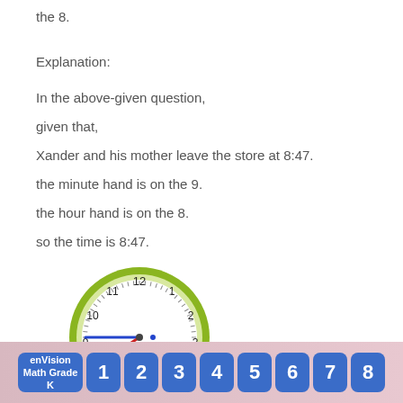the 8.
Explanation:
In the above-given question,
given that,
Xander and his mother leave the store at 8:47.
the minute hand is on the 9.
the hour hand is on the 8.
so the time is 8:47.
[Figure (illustration): An analog clock showing 8:47, with a blue minute hand pointing to the 9, a red hour hand pointing between 8 and 9, and a green outer ring. Clock face shows numbers 1-12.]
enVision Math Grade K  1  2  3  4  5  6  7  8